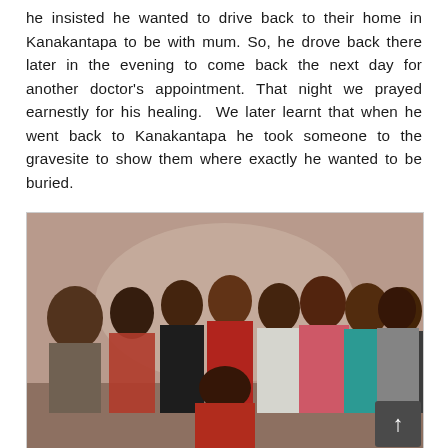he insisted he wanted to drive back to their home in Kanakantapa to be with mum. So, he drove back there later in the evening to come back the next day for another doctor's appointment. That night we prayed earnestly for his healing. We later learnt that when he went back to Kanakantapa he took someone to the gravesite to show them where exactly he wanted to be buried.
[Figure (photo): Group photograph of approximately ten people — men and women — posing together indoors against a light background. One person is seated/crouching in the front center; the rest stand behind. They are dressed in colorful clothing.]